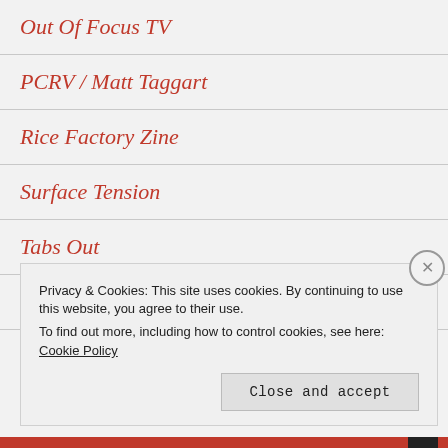Out Of Focus TV
PCRV / Matt Taggart
Rice Factory Zine
Surface Tension
Tabs Out
The static fanatic
Privacy & Cookies: This site uses cookies. By continuing to use this website, you agree to their use.
To find out more, including how to control cookies, see here: Cookie Policy
Close and accept